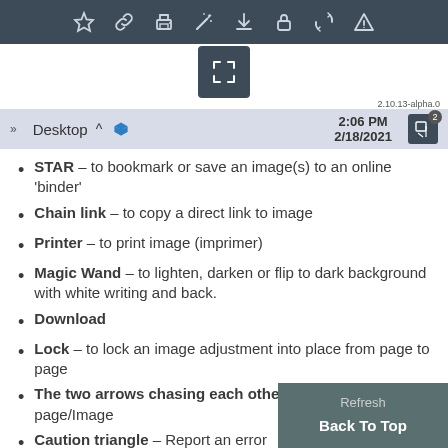[Figure (screenshot): Dark toolbar with icons: star, chain link, printer, magic wand, download, lock, two chasing arrows, caution triangle]
[Figure (screenshot): A single fullscreen/expand icon button in dark square]
2.10.13-alpha.0
[Figure (screenshot): System tray bar showing Desktop, Dropbox icon, time 2:06 PM / 2/18/2021, and notification icon with badge 2]
STAR – to bookmark or save an image(s) to an online 'binder'
Chain link – to copy a direct link to image
Printer – to print image (imprimer)
Magic Wand – to lighten, darken or flip to dark background with white writing and back.
Download
Lock – to lock an image adjustment into place from page to page
The two arrows chasing each other
Caution triangle – Report an error